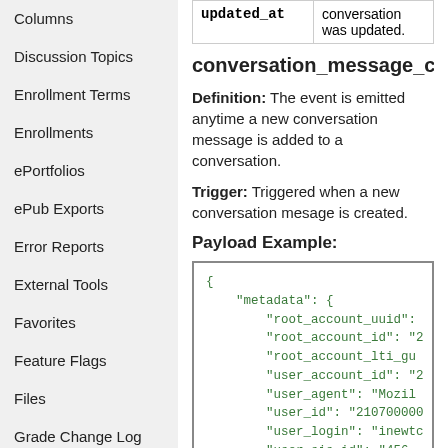Columns
Discussion Topics
Enrollment Terms
Enrollments
ePortfolios
ePub Exports
Error Reports
External Tools
Favorites
Feature Flags
Files
Grade Change Log
Gradebook History
Grading Periods
| updated_at |  |
| --- | --- |
| updated_at | conversation was updated. |
conversation_message_cr
Definition: The event is emitted anytime a new conversation message is added to a conversation.
Trigger: Triggered when a new conversation mesage is created.
Payload Example:
{
    "metadata": {
        "root_account_uuid":
        "root_account_id": "2
        "root_account_lti_gu
        "user_account_id": "2
        "user_agent": "Mozil
        "user_id": "210700000
        "user_login": "inewtc
        "user_sis_id": "456-